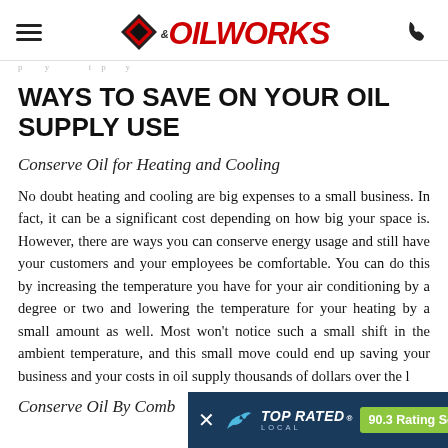Oilworks (logo with hamburger menu and phone icon)
WAYS TO SAVE ON YOUR OIL SUPPLY USE
Conserve Oil for Heating and Cooling
No doubt heating and cooling are big expenses to a small business. In fact, it can be a significant cost depending on how big your space is. However, there are ways you can conserve energy usage and still have your customers and your employees be comfortable. You can do this by increasing the temperature you have for your air conditioning by a degree or two and lowering the temperature for your heating by a small amount as well. Most won't notice such a small shift in the ambient temperature, and this small move could end up saving your business and your costs in oil supply thousands of dollars over the l
Conserve Oil By Comb
[Figure (infographic): Top Rated Local advertisement banner showing a blue background with a close button (x), a blue bird icon, 'TOP RATED' text, 'LOCAL' subtext, and '90.3 Rating Score™' badge in green]